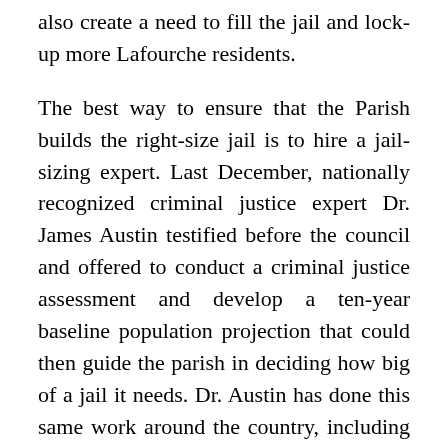also create a need to fill the jail and lock-up more Lafourche residents.
The best way to ensure that the Parish builds the right-size jail is to hire a jail-sizing expert. Last December, nationally recognized criminal justice expert Dr. James Austin testified before the council and offered to conduct a criminal justice assessment and develop a ten-year baseline population projection that could then guide the parish in deciding how big of a jail it needs. Dr. Austin has done this same work around the country, including in Orleans Parish, where his study resulted in the Orleans council decommissioning thousands of jail beds. As a result, the parish saved more than